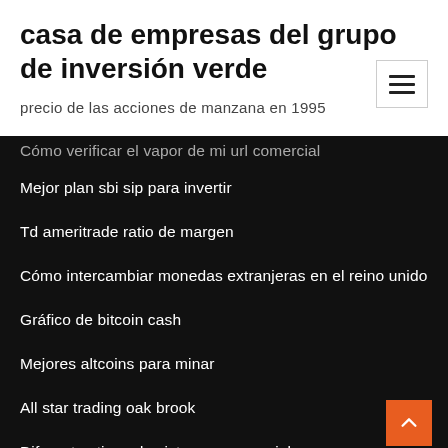casa de empresas del grupo de inversión verde
precio de las acciones de manzana en 1995
Cómo verificar el vapor de mi url comercial
Mejor plan sbi sip para invertir
Td ameritrade ratio de margen
Cómo intercambiar monedas extranjeras en el reino unido
Gráfico de bitcoin cash
Mejores altcoins para minar
All star trading oak brook
Diferentes tipos de sistemas comerciales
Precio de oro histórico londres arreglo